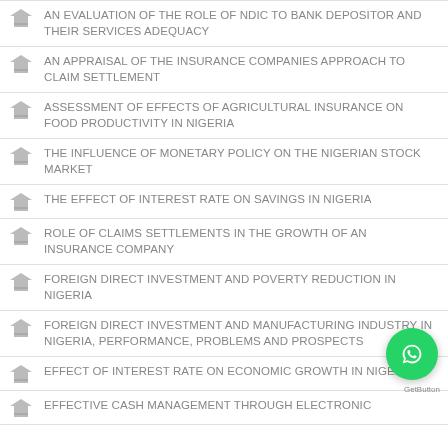AN EVALUATION OF THE ROLE OF NDIC TO BANK DEPOSITOR AND THEIR SERVICES ADEQUACY
AN APPRAISAL OF THE INSURANCE COMPANIES APPROACH TO CLAIM SETTLEMENT
ASSESSMENT OF EFFECTS OF AGRICULTURAL INSURANCE ON FOOD PRODUCTIVITY IN NIGERIA
THE INFLUENCE OF MONETARY POLICY ON THE NIGERIAN STOCK MARKET
THE EFFECT OF INTEREST RATE ON SAVINGS IN NIGERIA
ROLE OF CLAIMS SETTLEMENTS IN THE GROWTH OF AN INSURANCE COMPANY
FOREIGN DIRECT INVESTMENT AND POVERTY REDUCTION IN NIGERIA
FOREIGN DIRECT INVESTMENT AND MANUFACTURING INDUSTRY IN NIGERIA, PERFORMANCE, PROBLEMS AND PROSPECTS
EFFECT OF INTEREST RATE ON ECONOMIC GROWTH IN NIGERIA
EFFECTIVE CASH MANAGEMENT THROUGH ELECTRONIC BANKING